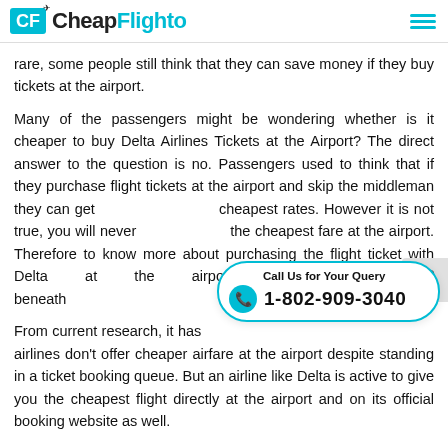CheapFlighto
rare, some people still think that they can save money if they buy tickets at the airport.
Many of the passengers might be wondering whether is it cheaper to buy Delta Airlines Tickets at the Airport? The direct answer to the question is no. Passengers used to think that if they purchase flight tickets at the airport and skip the middleman they can get cheapest rates. However it is not true, you will never the cheapest fare at the airport. Therefore to know more about purchasing the flight ticket with Delta at the airport, go through the beneath
From current research, it has airlines don't offer cheaper airfare at the airport despite standing in a ticket booking queue. But an airline like Delta is active to give you the cheapest flight directly at the airport and on its official booking website as well.